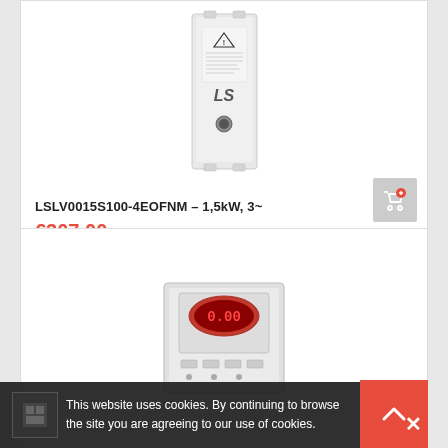[Figure (photo): LS LSLV0015S100-4EOFNM variable frequency drive product photo — white industrial VFD unit with warning labels and LS branding]
LSLV0015S100-4EOFNM – 1,5kW, 3~
€307.00
[Figure (photo): Second LS variable frequency drive product photo — white unit with red LED display panel]
This website uses cookies. By continuing to browse the site you are agreeing to our use of cookies.